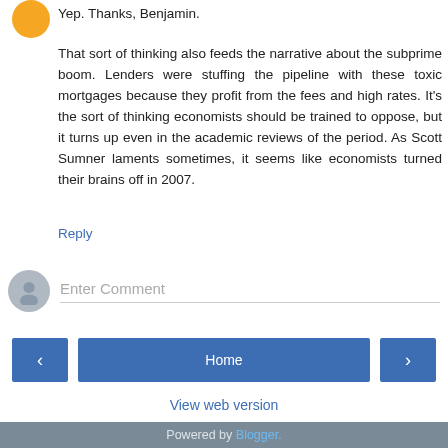Yep. Thanks, Benjamin.
That sort of thinking also feeds the narrative about the subprime boom. Lenders were stuffing the pipeline with these toxic mortgages because they profit from the fees and high rates. It's the sort of thinking economists should be trained to oppose, but it turns up even in the academic reviews of the period. As Scott Sumner laments sometimes, it seems like economists turned their brains off in 2007.
Reply
Enter Comment
Home
View web version
Powered by Blogger.